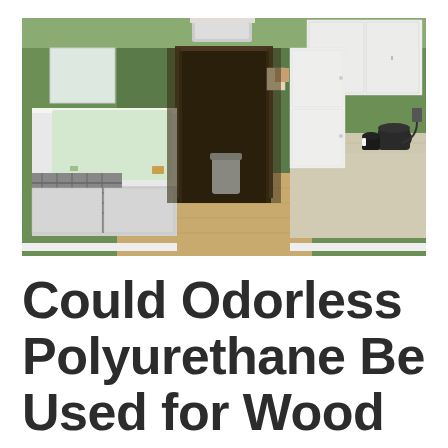[Figure (photo): Interior kitchen photo showing a long narrow kitchen with sage green walls, white cabinets and appliances, laminate wood flooring, a dish rack on the left counter, a trash can in the middle background, a mug and kettle on the right counter, and a doorway leading to a dark hallway in the center background.]
Could Odorless Polyurethane Be Used for Wood Tabletops?